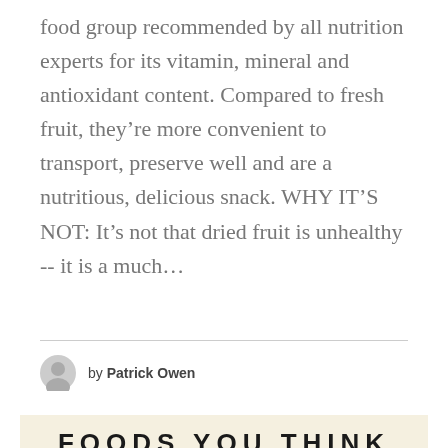food group recommended by all nutrition experts for its vitamin, mineral and antioxidant content. Compared to fresh fruit, they're more convenient to transport, preserve well and are a nutritious, delicious snack. WHY IT'S NOT: It's not that dried fruit is unhealthy -- it is a much...
by Patrick Owen
[Figure (infographic): Infographic with large bold text reading 'FOODS YOU THINK ARE HEALTHY, BUT AREN'T!' on a cream/beige background with an orange food item (appears to be dried fruit or shrimp) visible at the bottom.]